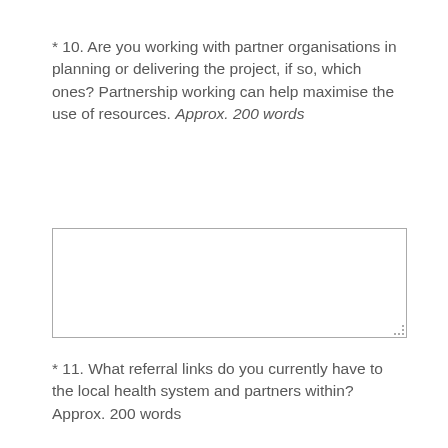* 10. Are you working with partner organisations in planning or delivering the project, if so, which ones? Partnership working can help maximise the use of resources. Approx. 200 words
[Figure (other): Empty text input box for question 10 answer]
* 11. What referral links do you currently have to the local health system and partners within? Approx. 200 words